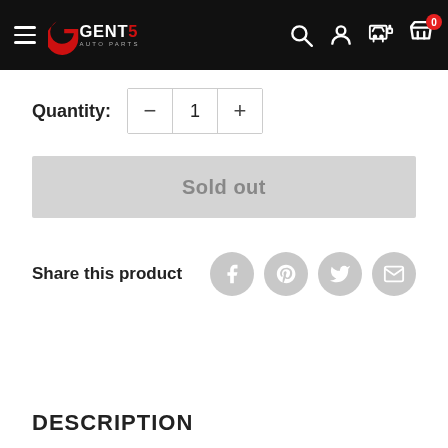[Figure (screenshot): Gent5 Auto Parts website navigation bar with hamburger menu, logo, search, account, garage, and cart icons on black background]
Quantity: − 1 +
[Figure (other): Sold out button (grey disabled state)]
Share this product
DESCRIPTION